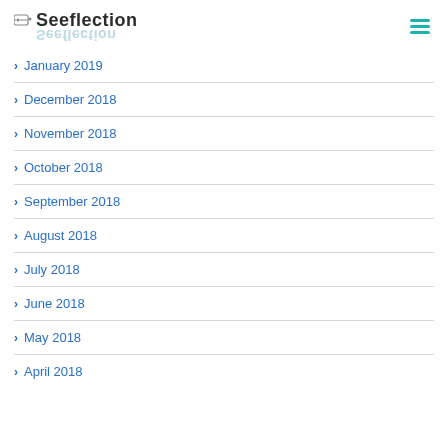Seeflection
January 2019
December 2018
November 2018
October 2018
September 2018
August 2018
July 2018
June 2018
May 2018
April 2018